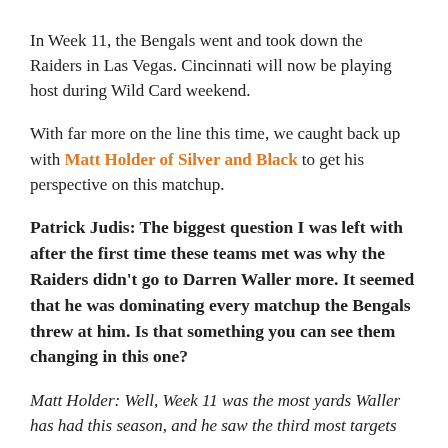In Week 11, the Bengals went and took down the Raiders in Las Vegas. Cincinnati will now be playing host during Wild Card weekend.
With far more on the line this time, we caught back up with Matt Holder of Silver and Black to get his perspective on this matchup.
Patrick Judis: The biggest question I was left with after the first time these teams met was why the Raiders didn't go to Darren Waller more. It seemed that he was dominating every matchup the Bengals threw at him. Is that something you can see them changing in this one?
Matt Holder: Well, Week 11 was the most yards Waller has had this season, and he saw the third most targets